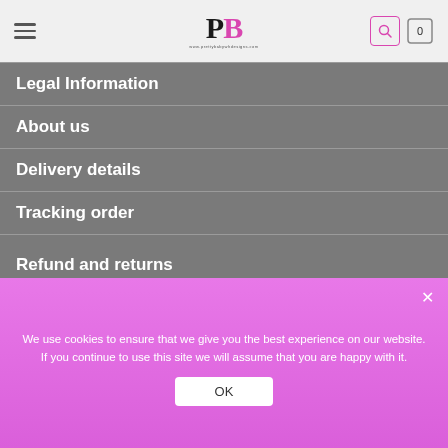[Figure (logo): PB logo in black and pink serif letters with website URL below]
Legal Information
About us
Delivery details
Tracking order
Refund and returns
Size Guide
We use cookies to ensure that we give you the best experience on our website. If you continue to use this site we will assume that you are happy with it.
OK